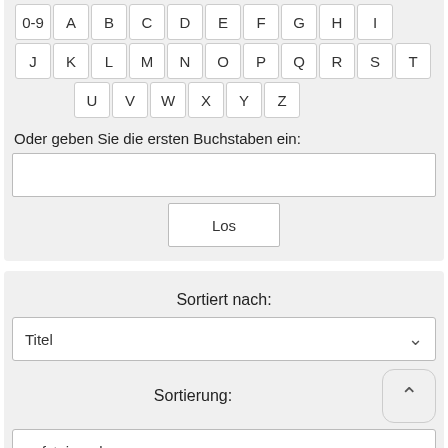[Figure (screenshot): Alphabet navigation buttons row 1: 0-9, A, B, C, D, E, F, G, H, I]
[Figure (screenshot): Alphabet navigation buttons row 2: J, K, L, M, N, O, P, Q, R, S, T]
[Figure (screenshot): Alphabet navigation buttons row 3: U, V, W, X, Y, Z]
Oder geben Sie die ersten Buchstaben ein:
[Figure (screenshot): Text input field for entering first letters]
[Figure (screenshot): Los button]
Sortiert nach:
[Figure (screenshot): Dropdown selector showing 'Titel']
Sortierung:
[Figure (screenshot): Dropdown selector showing 'aufsteigend' with scroll-up button]